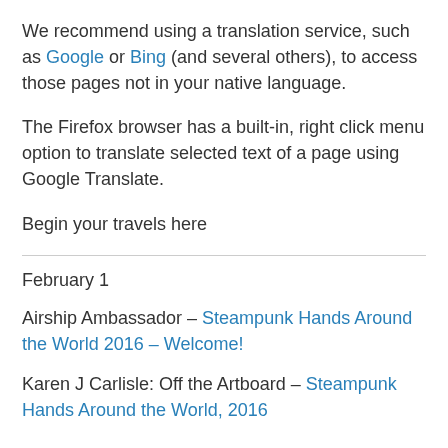We recommend using a translation service, such as Google or Bing (and several others), to access those pages not in your native language.
The Firefox browser has a built-in, right click menu option to translate selected text of a page using Google Translate.
Begin your travels here
February 1
Airship Ambassador – Steampunk Hands Around the World 2016 – Welcome!
Karen J Carlisle: Off the Artboard – Steampunk Hands Around the World, 2016